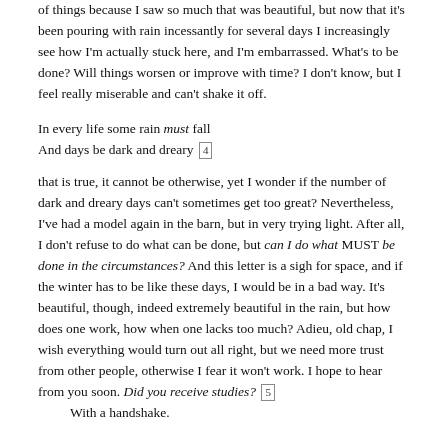of things because I saw so much that was beautiful, but now that it's been pouring with rain incessantly for several days I increasingly see how I'm actually stuck here, and I'm embarrassed. What's to be done? Will things worsen or improve with time? I don't know, but I feel really miserable and can't shake it off.
In every life some rain must fall
And days be dark and dreary [4]
that is true, it cannot be otherwise, yet I wonder if the number of dark and dreary days can't sometimes get too great? Nevertheless, I've had a model again in the barn, but in very trying light. After all, I don't refuse to do what can be done, but can I do what MUST be done in the circumstances? And this letter is a sigh for space, and if the winter has to be like these days, I would be in a bad way. It's beautiful, though, indeed extremely beautiful in the rain, but how does one work, how when one lacks too much? Adieu, old chap, I wish everything would turn out all right, but we need more trust from other people, otherwise I fear it won't work. I hope to hear from you soon. Did you receive studies? [5]
    With a handshake.
Ever yours,
Vincent